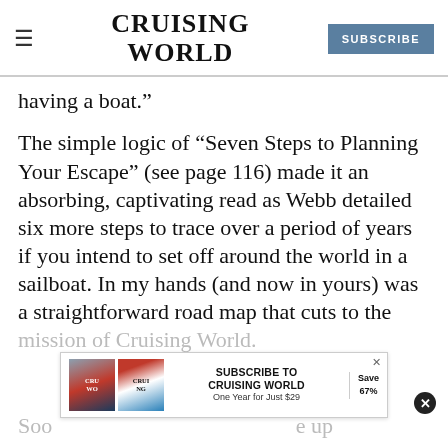CRUISING WORLD | SUBSCRIBE
having a boat.”
The simple logic of “Seven Steps to Planning Your Escape” (see page 116) made it an absorbing, captivating read as Webb detailed six more steps to trace over a period of years if you intend to set off around the world in a sailboat. In my hands (and now in yours) was a straightforward road map that cuts to the mission of Cruising World.
[Figure (other): Advertisement banner for subscribing to Cruising World magazine. Text reads SUBSCRIBE TO CRUISING WORLD One Year for Just $29, Save 67%. Shows magazine covers. Has X close button.]
Soo... e up